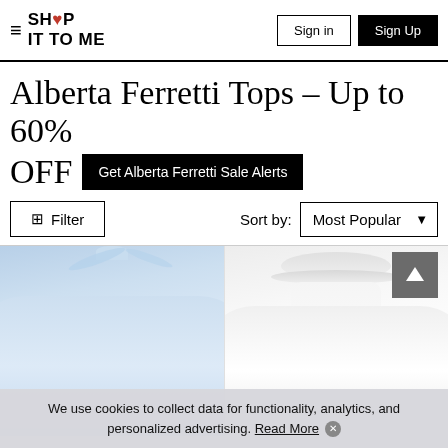SHOP IT TO ME — Sign in | Sign Up
Alberta Ferretti Tops - Up to 60% OFF
Get Alberta Ferretti Sale Alerts
Filter   Sort by: Most Popular
[Figure (photo): Two Alberta Ferretti blouse tops on a white background. Left: light blue silk blouse with bow tie collar. Right: white ruffled-collar blouse with button front.]
We use cookies to collect data for functionality, analytics, and personalized advertising. Read More ✕